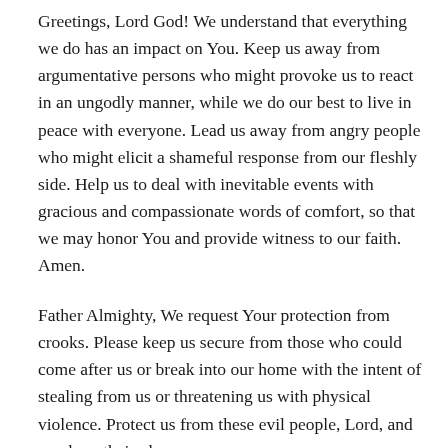Greetings, Lord God! We understand that everything we do has an impact on You. Keep us away from argumentative persons who might provoke us to react in an ungodly manner, while we do our best to live in peace with everyone. Lead us away from angry people who might elicit a shameful response from our fleshly side. Help us to deal with inevitable events with gracious and compassionate words of comfort, so that we may honor You and provide witness to our faith. Amen.
Father Almighty, We request Your protection from crooks. Please keep us secure from those who could come after us or break into our home with the intent of stealing from us or threatening us with physical violence. Protect us from these evil people, Lord, and muck up their plans so